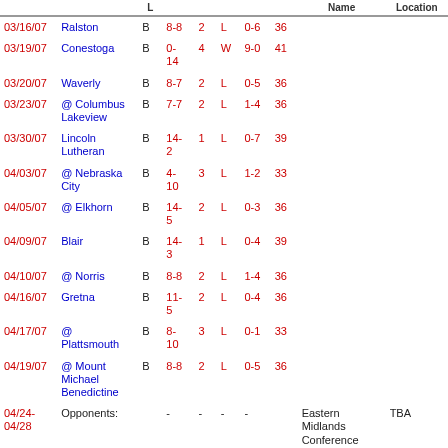| Date | Opponent | Level | Score | Games | W/L | Record | Pts | Name | Location |
| --- | --- | --- | --- | --- | --- | --- | --- | --- | --- |
| 03/16/07 | Ralston | B | 8-8 | 2 | L | 0-6 | 36 |  |  |
| 03/19/07 | Conestoga | B | 0-14 | 4 | W | 9-0 | 41 |  |  |
| 03/20/07 | Waverly | B | 8-7 | 2 | L | 0-5 | 36 |  |  |
| 03/23/07 | @ Columbus Lakeview | B | 7-7 | 2 | L | 1-4 | 36 |  |  |
| 03/30/07 | Lincoln Lutheran | B | 14-2 | 1 | L | 0-7 | 39 |  |  |
| 04/03/07 | @ Nebraska City | B | 4-10 | 3 | L | 1-2 | 33 |  |  |
| 04/05/07 | @ Elkhorn | B | 14-5 | 2 | L | 0-3 | 36 |  |  |
| 04/09/07 | Blair | B | 14-3 | 1 | L | 0-4 | 39 |  |  |
| 04/10/07 | @ Norris | B | 8-8 | 2 | L | 1-4 | 36 |  |  |
| 04/16/07 | Gretna | B | 11-5 | 2 | L | 0-4 | 36 |  |  |
| 04/17/07 | @ Plattsmouth | B | 8-10 | 3 | L | 0-1 | 33 |  |  |
| 04/19/07 | @ Mount Michael Benedictine | B | 8-8 | 2 | L | 0-5 | 36 |  |  |
| 04/24-04/28 | Opponents: |  | - | - | - | - |  | Eastern Midlands Conference Tournament | TBA |